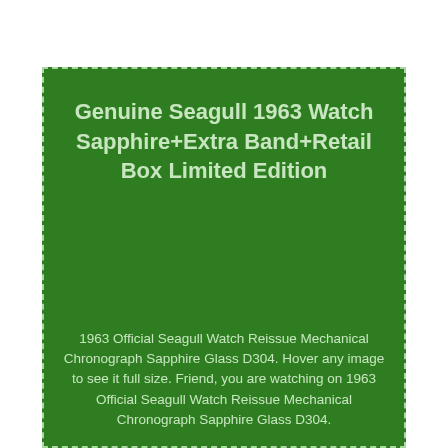Genuine Seagull 1963 Watch Sapphire+Extra Band+Retail Box Limited Edition
1963 Official Seagull Watch Reissue Mechanical Chronograph Sapphire Glass D304. Hover any image to see it full size. Friend, you are watching on 1963 Official Seagull Watch Reissue Mechanical Chronograph Sapphire Glass D304.